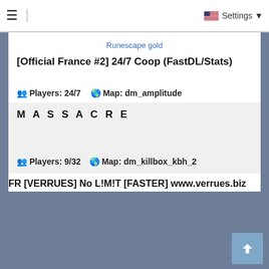≡  Settings ▾
Runescape gold
[Official France #2] 24/7 Coop (FastDL/Stats)
👥 Players: 24/7   🌐 Map: dm_amplitude
M A S S A C R E
👥 Players: 9/32   🌐 Map: dm_killbox_kbh_2
FR [VERRUES] No L!M!T [FASTER] www.verrues.biz